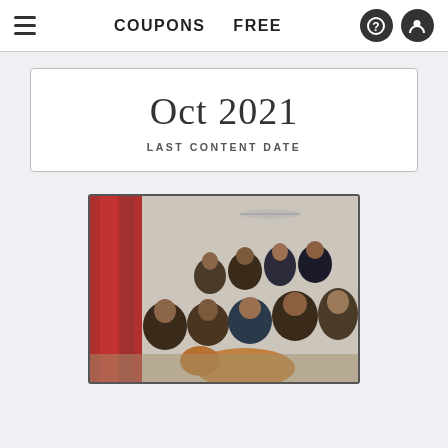COUPONS   FREE
Oct 2021
LAST CONTENT DATE
[Figure (photo): Group photo of approximately 10-12 people posing together indoors in a room with red curtains. A dog is visible in the foreground.]